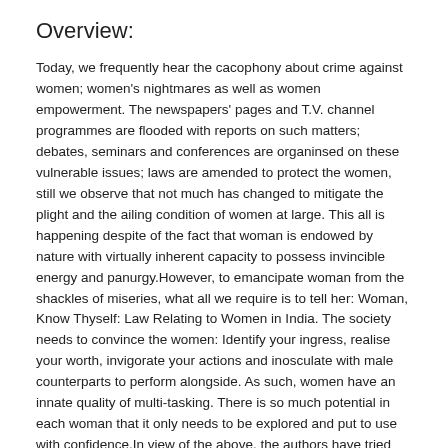Overview:
Today, we frequently hear the cacophony about crime against women; women's nightmares as well as women empowerment. The newspapers' pages and T.V. channel programmes are flooded with reports on such matters; debates, seminars and conferences are organinsed on these vulnerable issues; laws are amended to protect the women, still we observe that not much has changed to mitigate the plight and the ailing condition of women at large. This all is happening despite of the fact that woman is endowed by nature with virtually inherent capacity to possess invincible energy and panurgy.However, to emancipate woman from the shackles of miseries, what all we require is to tell her: Woman, Know Thyself: Law Relating to Women in India. The society needs to convince the women: Identify your ingress, realise your worth, invigorate your actions and inosculate with male counterparts to perform alongside. As such, women have an innate quality of multi-tasking. There is so much potential in each woman that it only needs to be explored and put to use with confidence.In view of the above, the authors have tried hard to instill confidence in women by highlighting women's dignity in historical perspective; their social and economic status in the